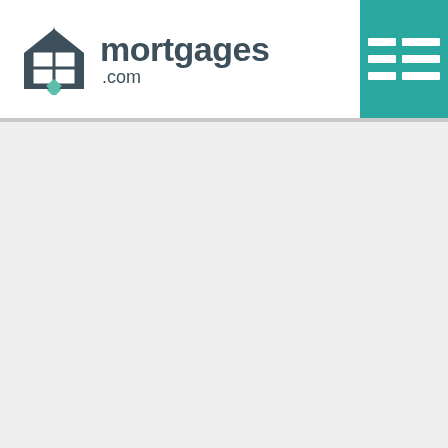mortgages.com
[Figure (logo): mortgages.com logo with house/window icon in dark slate and green, hamburger menu icon on teal background in top right]